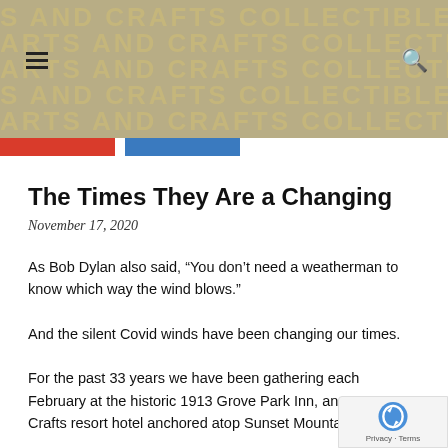[Figure (other): Website header banner with repeated text ARTS AND CRAFTS COLLECTIBLES AND CRAFTS COLL in large bold beige letters on a tan/khaki background, with a hamburger menu icon on the left and a search (magnifying glass) icon on the right.]
[Figure (other): Two horizontal color bars below the header: a red bar on the left and a blue bar to its right, on a white background.]
The Times They Are a Changing
November 17, 2020
As Bob Dylan also said, “You don’t need a weatherman to know which way the wind blows.”
And the silent Covid winds have been changing our times.
For the past 33 years we have been gathering each February at the historic 1913 Grove Park Inn, an Arts & Crafts resort hotel anchored atop Sunset Mountain